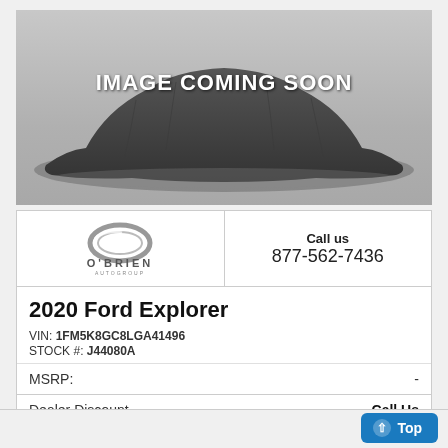[Figure (photo): A car covered with a dark drape/cloth with text 'IMAGE COMING SOON' overlaid in white bold letters on a gray gradient background]
[Figure (logo): O'Brien Autogroup logo — a metallic oval ring with 'O'BRIEN' text and 'AUTOGROUP' below]
Call us
877-562-7436
2020 Ford Explorer
VIN: 1FM5K8GC8LGA41496
STOCK #: J44080A
MSRP:	-
Dealer Discount	Call Us
CLICK HERE
$53,800
⬆ Top